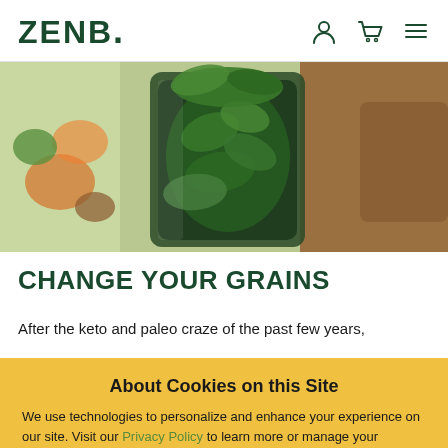ZENB.
[Figure (photo): A blender or glass container filled with fresh green spinach/leafy greens, surrounded by other colorful ingredients on a wooden surface — a food/smoothie preparation scene]
CHANGE YOUR GRAINS
After the keto and paleo craze of the past few years,
About Cookies on this Site
We use technologies to personalize and enhance your experience on our site. Visit our Privacy Policy to learn more or manage your personal preferences in our Cookie Consent Tool. By using our site, you agree to our use of these technologies.
I Understand